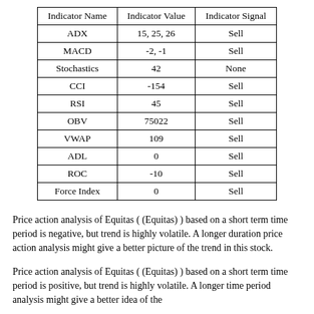| Indicator Name | Indicator Value | Indicator Signal |
| --- | --- | --- |
| ADX | 15, 25, 26 | Sell |
| MACD | -2, -1 | Sell |
| Stochastics | 42 | None |
| CCI | -154 | Sell |
| RSI | 45 | Sell |
| OBV | 75022 | Sell |
| VWAP | 109 | Sell |
| ADL | 0 | Sell |
| ROC | -10 | Sell |
| Force Index | 0 | Sell |
Price action analysis of Equitas ( (Equitas) ) based on a short term time period is negative, but trend is highly volatile. A longer duration price action analysis might give a better picture of the trend in this stock.
Price action analysis of Equitas ( (Equitas) ) based on a short term time period is positive, but trend is highly volatile. A longer time period analysis might give a better idea of the